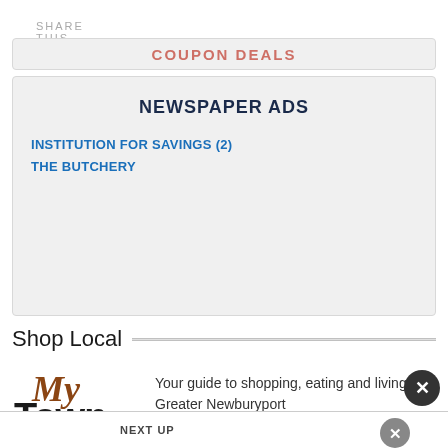SHARE THIS
[Figure (screenshot): Partially visible coupon deals banner in red text]
NEWSPAPER ADS
INSTITUTION FOR SAVINGS (2)
THE BUTCHERY
Shop Local
[Figure (logo): My Town logo with cursive My in brown and bold Town in black]
Your guide to shopping, eating and living in Greater Newburyport
NEXT UP